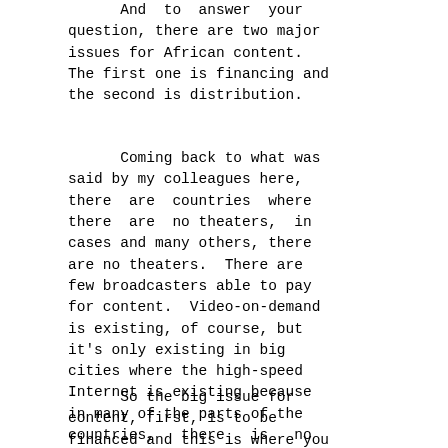And to answer your question, there are two major issues for African content. The first one is financing and the second is distribution.
Coming back to what was said by my colleagues here, there are countries where there are no theaters, in cases and many others, there are no theaters. There are few broadcasters able to pay for content. Video-on-demand is existing, of course, but it's only existing in big cities where the high-speed Internet is existing because in many of the parts of the countries, there is no Internet.
So the big issue for content, first, is to be financed and this is where you